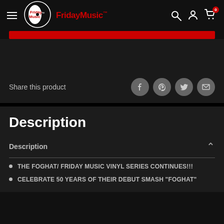[Figure (logo): FridayMusic logo with circular vinyl record icon and red text]
[Figure (infographic): Red banner/strip below header]
Share this product
[Figure (infographic): Social share icons: Facebook, Pinterest, Twitter, Email]
Description
Description
THE FOGHAT/ FRIDAY MUSIC VINYL SERIES CONTINUES!!!
CELEBRATE 50 YEARS OF THEIR DEBUT SMASH "FOGHAT"